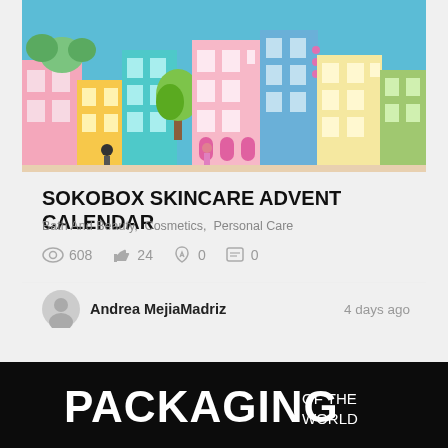[Figure (illustration): Colorful illustrated cityscape with shops, trees, and buildings in pink, yellow, green and blue tones]
SOKOBOX SKINCARE ADVENT CALENDAR
Bath And Beauty,  Cosmetics,  Personal Care
608  24  0  0
Andrea MejiaMadriz  4 days ago
Did you know: The natural kraft is the strongest of all paper and is commonly used for bags and wrapping.
[Figure (logo): PACKAGING OF THE WORLD logo in white text on dark background]